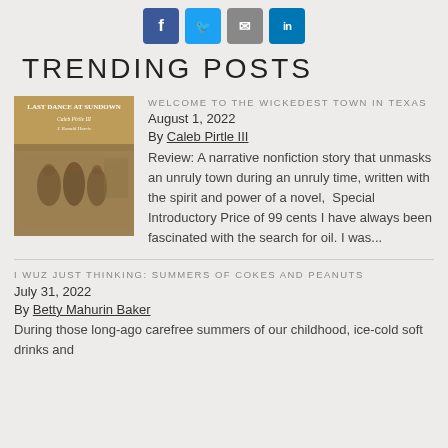[Figure (illustration): Social share buttons: Facebook (blue), Twitter (light blue), Email (gray), LinkedIn (blue)]
TRENDING POSTS
[Figure (photo): Book cover for 'Last Dance at Sundown' by Caleb Pirtle III and J. Ronald Harris, showing a sepia-toned historical photograph]
WELCOME TO THE WICKEDEST TOWN IN TEXAS
August 1, 2022
By Caleb Pirtle III
Review: A narrative nonfiction story that unmasks an unruly town during an unruly time, written with the spirit and power of a novel,  Special Introductory Price of 99 cents I have always been fascinated with the search for oil. I was...
I WUZ JUST THINKING: SUMMERS OF COKES AND PEANUTS
July 31, 2022
By Betty Mahurin Baker
During those long-ago carefree summers of our childhood, ice-cold soft drinks and